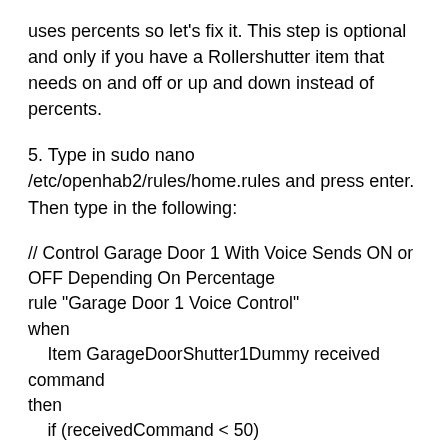uses percents so let's fix it. This step is optional and only if you have a Rollershutter item that needs on and off or up and down instead of percents.
5. Type in sudo nano /etc/openhab2/rules/home.rules and press enter. Then type in the following:
// Control Garage Door 1 With Voice Sends ON or OFF Depending On Percentage
rule "Garage Door 1 Voice Control"
when
    Item GarageDoorShutter1Dummy received command
then
    if (receivedCommand < 50)